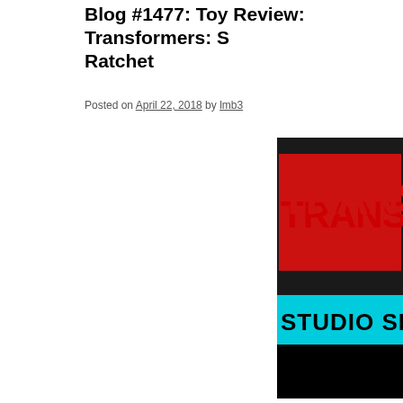Blog #1477: Toy Review: Transformers: Studio Series Ratchet
Posted on April 22, 2018 by lmb3
[Figure (photo): Transformers Studio Series logo banner — red 'TRANSFORMERS' text on black background with cyan 'STUDIO SERIES' bar below]
Transformers: Studio Series Deluxe Ratchet
[Figure (photo): Photo of the Transformers Studio Series Ratchet toy box packaging]
Privacy & Cookies: This site uses cookies. By continuing to use this website, you agree to their use.
To find out more, including how to control cookies, see here: Cookie Policy
Close and accept